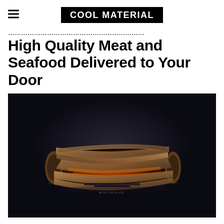COOL MATERIAL
High Quality Meat and Seafood Delivered to Your Door
[Figure (photo): A luxury whisky bottle with a wooden spiral wrap casing, glowing amber-orange through the wood slats, displayed on a dark reflective surface. The Macallan branding is visible on the base. Dark dramatic studio lighting.]